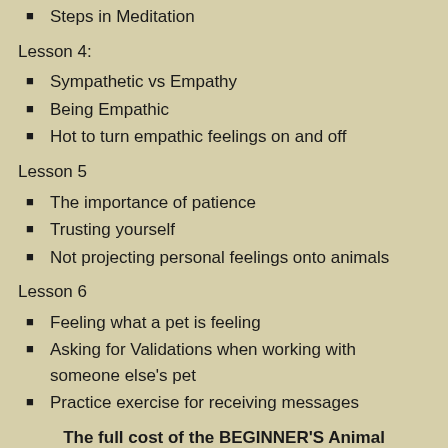Steps in Meditation
Lesson 4:
Sympathetic vs Empathy
Being Empathic
Hot to turn empathic feelings on and off
Lesson 5
The importance of patience
Trusting yourself
Not projecting personal feelings onto animals
Lesson 6
Feeling what a pet is feeling
Asking for Validations when working with someone else's pet
Practice exercise for receiving messages
The full cost of the BEGINNER'S Animal